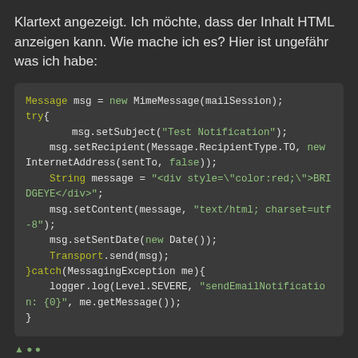Klartext angezeigt. Ich möchte, dass der Inhalt HTML anzeigen kann. Wie mache ich es? Hier ist ungefähr was ich habe:
[Figure (screenshot): Code block showing Java email sending code with syntax highlighting on dark background. Code includes Message, MimeMessage, try/catch, setSubject, setRecipient, InternetAddress, String message with HTML div, setContent with text/html charset, setSentDate, Transport.send, catch MessagingException, logger.log.]